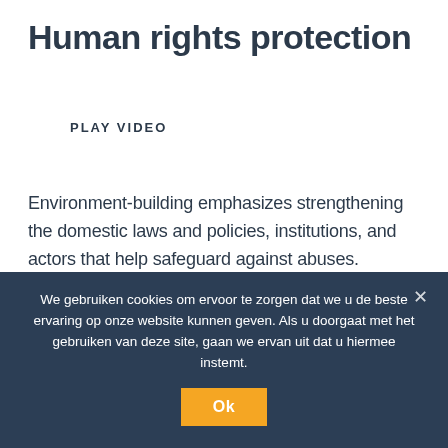Human rights protection
Play Video
Environment-building emphasizes strengthening the domestic laws and policies, institutions, and actors that help safeguard against abuses. Programming areas include:
– Strengthening the capacity of human rights
– Training justice and security sector personnel
– Ensuring…
We gebruiken cookies om ervoor te zorgen dat we u de beste ervaring op onze website kunnen geven. Als u doorgaat met het gebruiken van deze site, gaan we ervan uit dat u hiermee instemt.